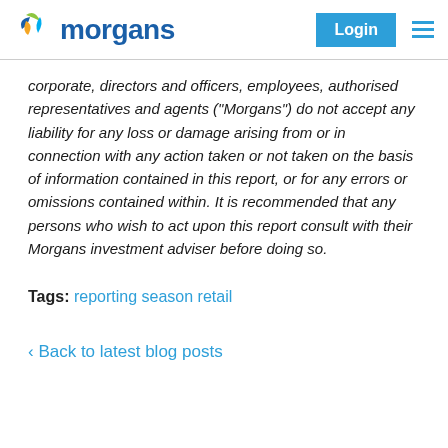Morgans | Login
corporate, directors and officers, employees, authorised representatives and agents ("Morgans") do not accept any liability for any loss or damage arising from or in connection with any action taken or not taken on the basis of information contained in this report, or for any errors or omissions contained within. It is recommended that any persons who wish to act upon this report consult with their Morgans investment adviser before doing so.
Tags: reporting season retail
< Back to latest blog posts